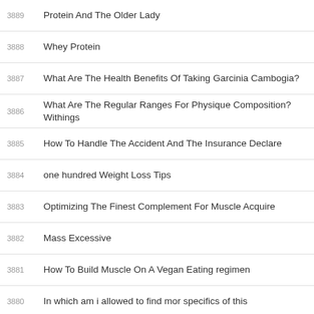3889 Protein And The Older Lady
3888 Whey Protein
3887 What Are The Health Benefits Of Taking Garcinia Cambogia?
3886 What Are The Regular Ranges For Physique Composition? Withings
3885 How To Handle The Accident And The Insurance Declare
3884 one hundred Weight Loss Tips
3883 Optimizing The Finest Complement For Muscle Acquire
3882 Mass Excessive
3881 How To Build Muscle On A Vegan Eating regimen
3880 In which am i allowed to find mor specifics of this
3879 The Paradox Of Weight Loss Resolutions
3878 Best Complement For Mass, Wholesale & Suppliers
3877 Supplements For Muscle Mass
3876 (Korean text) 14 2020000
3875 (Korean text)
3874 Bodybuilding And Sports Diet Muscle Building Dietary supplements Store